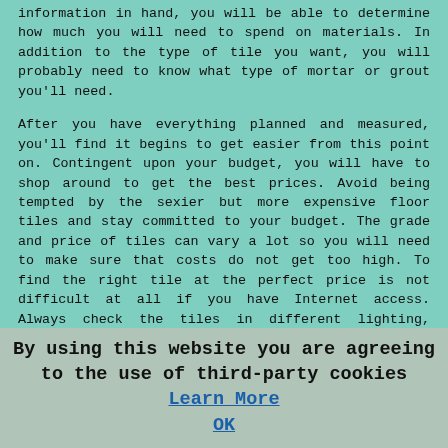information in hand, you will be able to determine how much you will need to spend on materials. In addition to the type of tile you want, you will probably need to know what type of mortar or grout you'll need.
After you have everything planned and measured, you'll find it begins to get easier from this point on. Contingent upon your budget, you will have to shop around to get the best prices. Avoid being tempted by the sexier but more expensive floor tiles and stay committed to your budget. The grade and price of tiles can vary a lot so you will need to make sure that costs do not get too high. To find the right tile at the perfect price is not difficult at all if you have Internet access. Always check the tiles in different lighting, before you make your final decision.
Since you have the task completely organized, and the tile selected, it is time to start the actual work. If you want everything to be perfect from now and into the long term, make sure the surface is properly set up to be tiled. Every inch which needs to be tiled must be set up properly. Whether you will tile the walls or the floor, make sure that the surface is smooth, level and properly primed or water proofed. Tile work usually needs to be set up over a
By using this website you are agreeing to the use of third-party cookies Learn More  OK